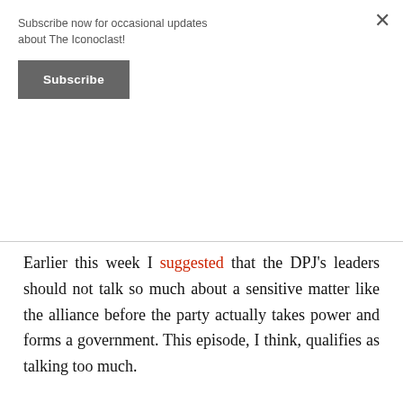Subscribe now for occasional updates about The Iconoclast!
Subscribe
Earlier this week I suggested that the DPJ’s leaders should not talk so much about a sensitive matter like the alliance before the party actually takes power and forms a government. This episode, I think, qualifies as talking too much.
I hope that someone senior in the DPJ will be meeting as soon as possible with newly arrived Ambassador John Roos to put Hatoyama’s remarks in proper context.
Meanwhile, I am no less convinced that Hatoyama as